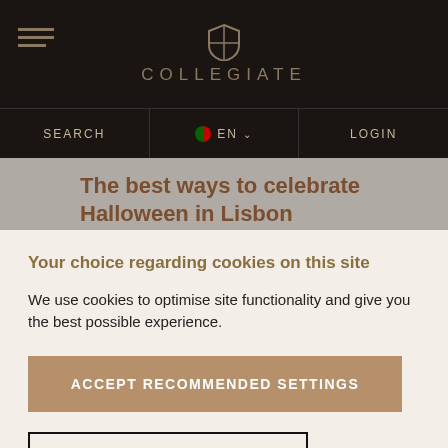COLLEGIATE
The best ways to celebrate Halloween in Lisbon
October 28, 2021
Your choice regarding cookies on this site
We use cookies to optimise site functionality and give you the best possible experience.
ACCEPT RECOMMENDED SETTINGS
MANAGE PREFERENCES